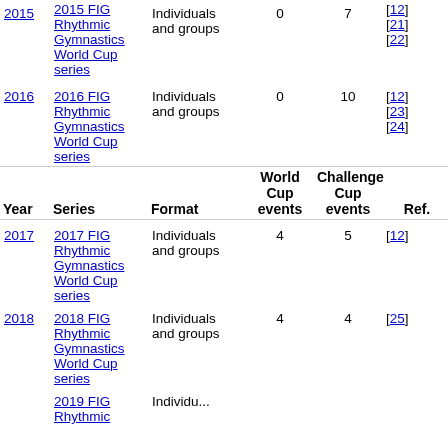| Year | Series | Format | World Cup events | Challenge Cup events | Ref. |
| --- | --- | --- | --- | --- | --- |
| 2015 | 2015 FIG Rhythmic Gymnastics World Cup series | Individuals and groups | 0 | 7 | [12][21][22] |
| 2016 | 2016 FIG Rhythmic Gymnastics World Cup series | Individuals and groups | 0 | 10 | [12][23][24] |
| 2017 | 2017 FIG Rhythmic Gymnastics World Cup series | Individuals and groups | 4 | 5 | [12] |
| 2018 | 2018 FIG Rhythmic Gymnastics World Cup series | Individuals and groups | 4 | 4 | [25] |
| 2019 | 2019 FIG Rhythmic Gymnastics World Cup series | Individuals and groups |  |  |  |